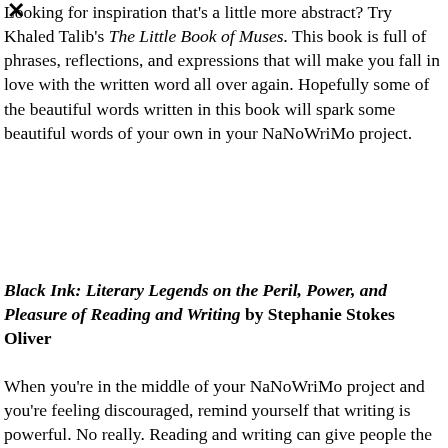Looking for inspiration that's a little more abstract? Try Khaled Talib's The Little Book of Muses. This book is full of phrases, reflections, and expressions that will make you fall in love with the written word all over again. Hopefully some of the beautiful words written in this book will spark some beautiful words of your own in your NaNoWriMo project.
Black Ink: Literary Legends on the Peril, Power, and Pleasure of Reading and Writing by Stephanie Stokes Oliver
When you're in the middle of your NaNoWriMo project and you're feeling discouraged, remind yourself that writing is powerful. No really. Reading and writing can give people the power to change the world. Don't believe me? Then check out Black Ink. This book looks